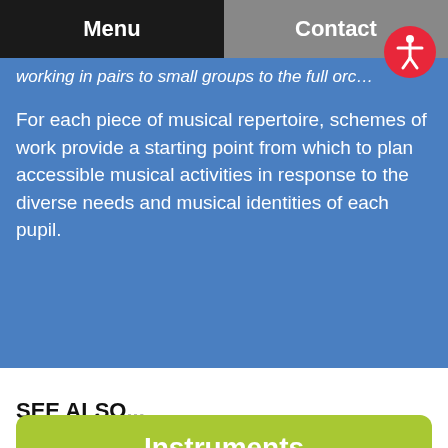Menu | Contact
working in pairs to small groups to the full orc…
For each piece of musical repertoire, schemes of work provide a starting point from which to plan accessible musical activities in response to the diverse needs and musical identities of each pupil.
SEE ALSO...
Instruments